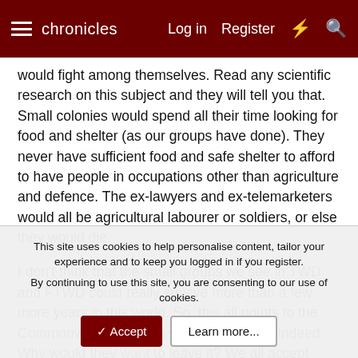chronicles  Log in  Register
would fight among themselves. Read any scientific research on this subject and they will tell you that. Small colonies would spend all their time looking for food and shelter (as our groups have done). They never have sufficient food and safe shelter to afford to have people in occupations other than agriculture and defence. The ex-lawyers and ex-telemarketers would all be agricultural labourer or soldiers, or else they would die.
I don't think that the small groups we see in TWD and FTWD could really survive more than a few more years in this world. So, this all points to the Commonwealth being a very large colony indeed. Why would they want to leave it? We all accept laws and rules we might not agree with to live in safety and get fed. We haven't seen the Commonwealth laws but can they be worse than living with the Saviours or Woodbury? It doesn't
This site uses cookies to help personalise content, tailor your experience and to keep you logged in if you register.
By continuing to use this site, you are consenting to our use of cookies.
✓ Accept   Learn more...